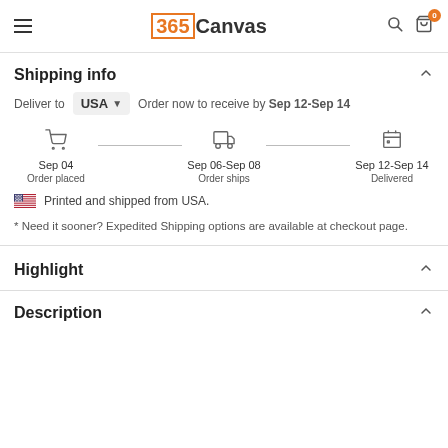365Canvas
Shipping info
Deliver to USA — Order now to receive by Sep 12-Sep 14
[Figure (infographic): Shipping timeline showing: Order placed Sep 04, Order ships Sep 06-Sep 08, Delivered Sep 12-Sep 14]
Printed and shipped from USA.
* Need it sooner? Expedited Shipping options are available at checkout page.
Highlight
Description